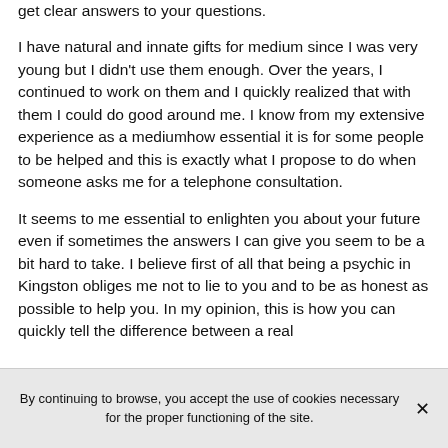get clear answers to your questions.
I have natural and innate gifts for medium since I was very young but I didn't use them enough. Over the years, I continued to work on them and I quickly realized that with them I could do good around me. I know from my extensive experience as a mediumhow essential it is for some people to be helped and this is exactly what I propose to do when someone asks me for a telephone consultation.
It seems to me essential to enlighten you about your future even if sometimes the answers I can give you seem to be a bit hard to take. I believe first of all that being a psychic in Kingston obliges me not to lie to you and to be as honest as possible to help you. In my opinion, this is how you can quickly tell the difference between a real
By continuing to browse, you accept the use of cookies necessary for the proper functioning of the site.